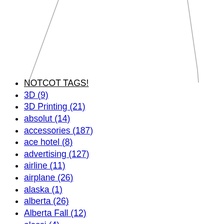[Figure (illustration): Two faint diagonal lines on a white background, one on the left side and one on the right side, appearing to be parts of a larger decorative or structural graphic element cropped at the top of the page.]
NOTCOT TAGS!
3D (9)
3D Printing (21)
absolut (14)
accessories (187)
ace hotel (8)
advertising (127)
airline (11)
airplane (26)
alaska (1)
alberta (26)
Alberta Fall (12)
alessi (4)
animals (211)
animation (15)
apple (14)
architecture (64)